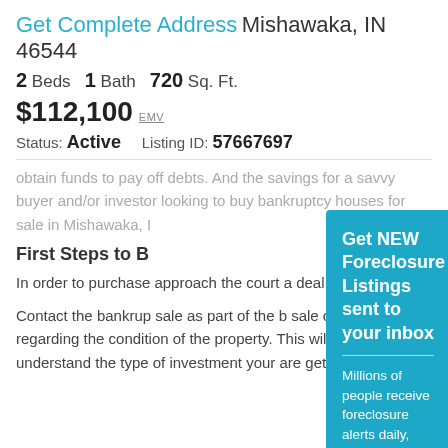Get Complete Address Mishawaka, IN 46544
2 Beds   1 Bath   720 Sq. Ft.
$112,100 EMV
Status: Active    Listing ID: 57667697
obtain funds to pay off debts. And the savings for a savvy buyer and/or investor looking to buy bankruptcy houses for sale in Mishawaka, I
First Steps to B
In order to purchase approach the court a deal.
Contact the bankrup sale as part of the b sale of the property regarding the condition of the property. This will help you understand the type of investment your are getting into.
[Figure (infographic): Modal overlay popup with teal background. Title: 'Get NEW Foreclosure Listings sent to your inbox'. Subtitle: 'Millions of people receive foreclosure alerts daily, don’t miss out.' Red button: 'Signup Here'. Envelope icon. Links: 'No Thanks | Remind Me Later']